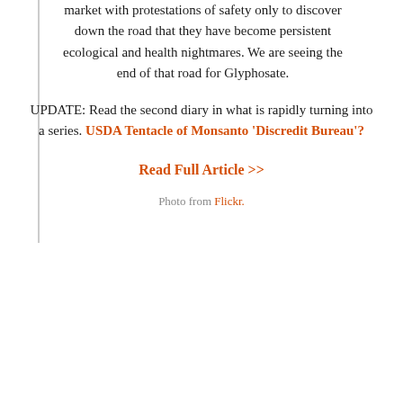market with protestations of safety only to discover down the road that they have become persistent ecological and health nightmares. We are seeing the end of that road for Glyphosate.
UPDATE: Read the second diary in what is rapidly turning into a series. USDA Tentacle of Monsanto 'Discredit Bureau'?
Read Full Article >>
Photo from Flickr.